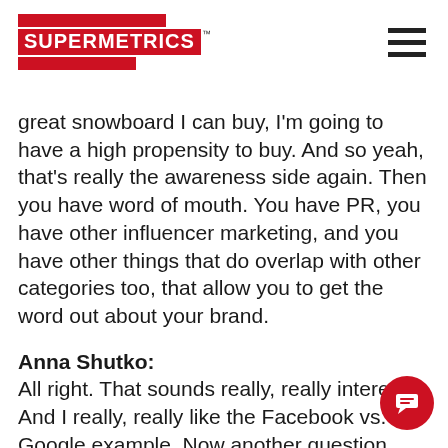SUPERMETRICS™
great snowboard I can buy, I'm going to have a high propensity to buy. And so yeah, that's really the awareness side again. Then you have word of mouth. You have PR, you have other influencer marketing, and you have other things that do overlap with other categories too, that allow you to get the word out about your brand.
Anna Shutko:
All right. That sounds really, really interes… And I really, really like the Facebook vs. Google example. Now another question